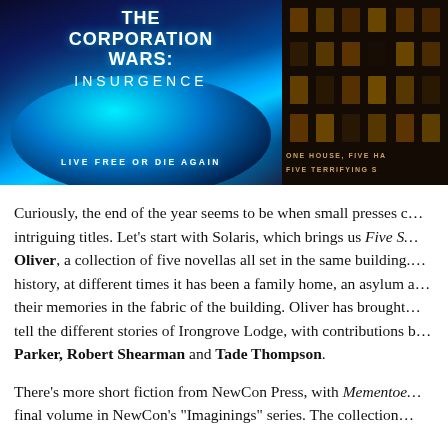[Figure (photo): Two book covers side by side. Left: 'The Corporation Wars: Insurgence' with space/planet imagery and tagline 'Live Free or Die Again'. Right: Partial cover of a horror anthology showing a dark building with lit windows and text 'One House, Five Ha... Five Terrifying S...']
Curiously, the end of the year seems to be when small presses c... intriguing titles. Let's start with Solaris, which brings us Five S... Oliver, a collection of five novellas all set in the same building.... history, at different times it has been a family home, an asylum a... their memories in the fabric of the building. Oliver has brought... tell the different stories of Irongrove Lodge, with contributions b... Parker, Robert Shearman and Tade Thompson.
There's more short fiction from NewCon Press, with Mementoe... final volume in NewCon's "Imaginings" series. The collection...